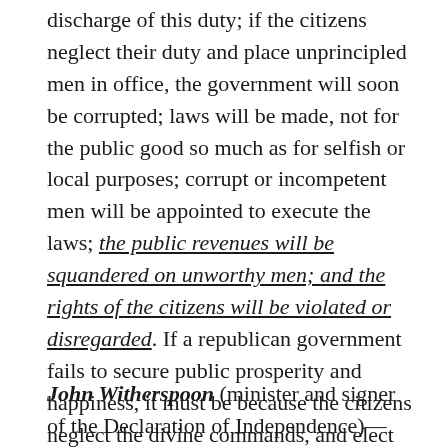discharge of this duty; if the citizens neglect their duty and place unprincipled men in office, the government will soon be corrupted; laws will be made, not for the public good so much as for selfish or local purposes; corrupt or incompetent men will be appointed to execute the laws; the public revenues will be squandered on unworthy men; and the rights of the citizens will be violated or disregarded. If a republican government fails to secure public prosperity and happiness, it must be because the citizens neglect the divine commands, and elect bad men to make and administer the laws.
John Witherspoon (minister and signer of the Declaration of Independence)—Those who wish well to